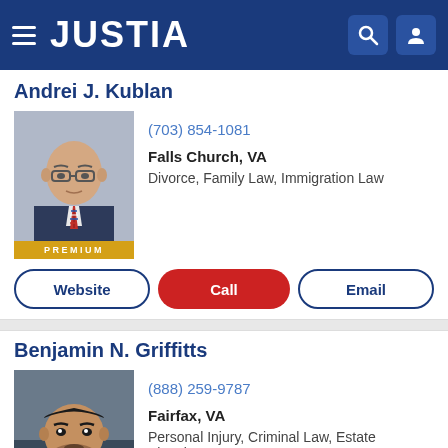JUSTIA
Andrei J. Kublan
(703) 854-1081
Falls Church, VA
Divorce, Family Law, Immigration Law
Website | Call | Email
Benjamin N. Griffitts
(888) 259-9787
Fairfax, VA
Personal Injury, Criminal Law, Estate Planning,...
Website | Call | Email